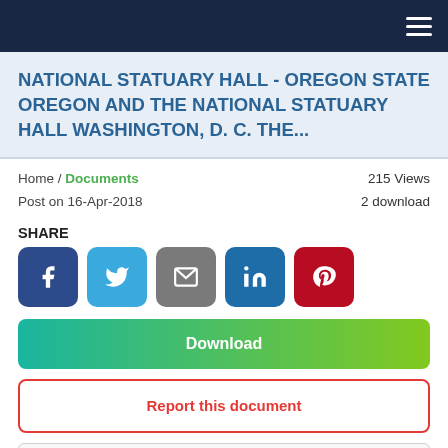Navigation bar with hamburger menu
NATIONAL STATUARY HALL - OREGON STATE OREGON AND THE NATIONAL STATUARY HALL WASHINGTON, D. C. THE...
Home / Documents
215 Views
Post on 16-Apr-2018
2 download
SHARE
[Figure (infographic): Social share buttons: Facebook, Twitter, Email, LinkedIn, Pinterest]
Download
Report this document